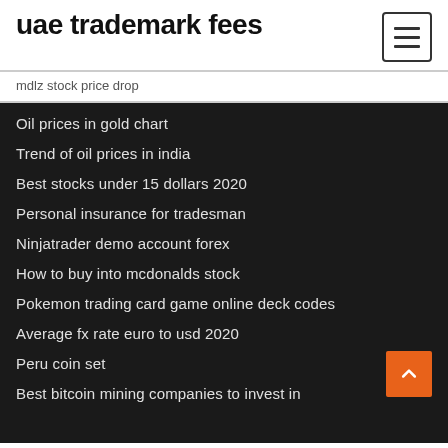uae trademark fees
mdlz stock price drop
Oil prices in gold chart
Trend of oil prices in india
Best stocks under 15 dollars 2020
Personal insurance for tradesman
Ninjatrader demo account forex
How to buy into mcdonalds stock
Pokemon trading card game online deck codes
Average fx rate euro to usd 2020
Peru coin set
Best bitcoin mining companies to invest in